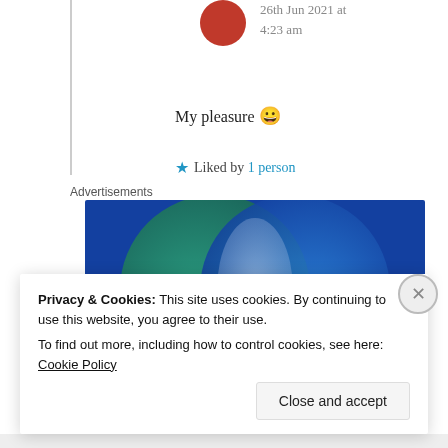26th Jun 2021 at 4:23 am
My pleasure 😀
★ Liked by 1 person
Advertisements
[Figure (illustration): Venn diagram advertisement with two overlapping circles on a dark blue/teal background. Left circle (teal/green) is labeled 'Everything you need', right circle (blue) is labeled 'Anything you want'.]
Privacy & Cookies: This site uses cookies. By continuing to use this website, you agree to their use.
To find out more, including how to control cookies, see here: Cookie Policy
Close and accept